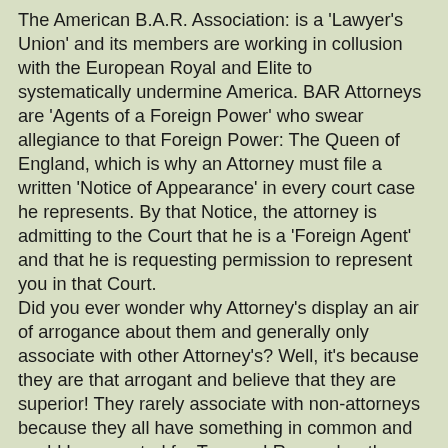The American B.A.R. Association: is a 'Lawyer's Union' and its members are working in collusion with the European Royal and Elite to systematically undermine America. BAR Attorneys are 'Agents of a Foreign Power' who swear allegiance to that Foreign Power: The Queen of England, which is why an Attorney must file a written 'Notice of Appearance' in every court case he represents. By that Notice, the attorney is admitting to the Court that he is a 'Foreign Agent' and that he is requesting permission to represent you in that Court.
Did you ever wonder why Attorney's display an air of arrogance about them and generally only associate with other Attorney's? Well, it's because they are that arrogant and believe that they are superior! They rarely associate with non-attorneys because they all have something in common and could be executed for Treason! Remember the proverb:
"Birds of a feather; flock together." Seems like a good object lesson for Police Officers to remember too! The same Notice of Appearance, states that you have given your lawyer an irrevocable power of attorney, which is always used against your best interest! The lawyer cannot represent you without